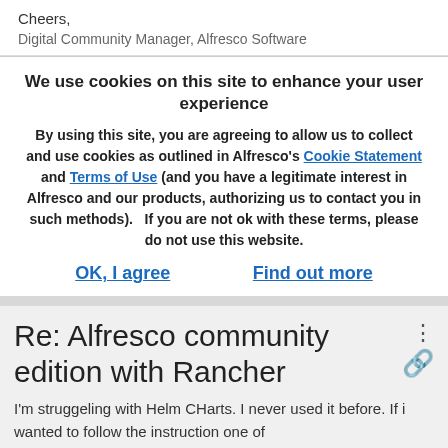Cheers,
Digital Community Manager, Alfresco Software
We use cookies on this site to enhance your user experience
By using this site, you are agreeing to allow us to collect and use cookies as outlined in Alfresco's Cookie Statement and Terms of Use (and you have a legitimate interest in Alfresco and our products, authorizing us to contact you in such methods).   If you are not ok with these terms, please do not use this website.
OK, I agree
Find out more
Re: Alfresco community edition with Rancher
I'm struggeling with Helm CHarts. I never used it before. If i wanted to follow the instruction one of